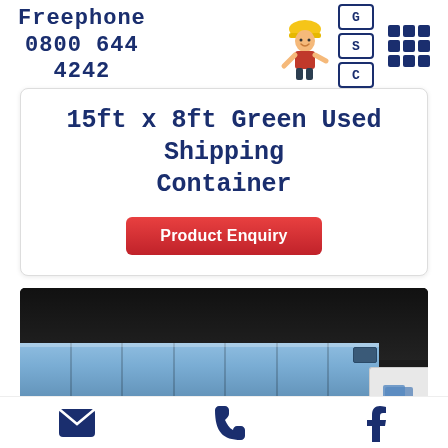Freephone 0800 644 4242
15ft x 8ft Green Used Shipping Container
Product Enquiry
[Figure (photo): Photo of blue used shipping container stacked in a yard, dark industrial background]
Social icons: email, phone, facebook